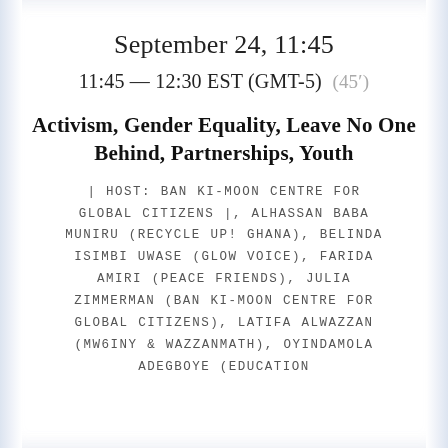September 24, 11:45
11:45 — 12:30 EST (GMT-5)  (45′)
Activism, Gender Equality, Leave No One Behind, Partnerships, Youth
| HOST: BAN KI-MOON CENTRE FOR GLOBAL CITIZENS |, ALHASSAN BABA MUNIRU (RECYCLE UP! GHANA), BELINDA ISIMBI UWASE (GLOW VOICE), FARIDA AMIRI (PEACE FRIENDS), JULIA ZIMMERMAN (BAN KI-MOON CENTRE FOR GLOBAL CITIZENS), LATIFA ALWAZZAN (MW6INY & WAZZANMATH), OYINDAMOLA ADEGBOYE (EDUCATION